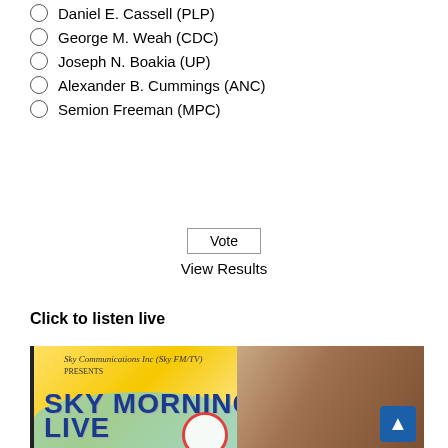Daniel E. Cassell (PLP)
George M. Weah (CDC)
Joseph N. Boakia (UP)
Alexander B. Cummings (ANC)
Semion Freeman (MPC)
Vote
View Results
Click to listen live
[Figure (photo): Sky Morning Live radio/TV show banner for Sky Communications Inc (Sky FM/TV), showing blue bold text 'SKY MORNING LIVE' on yellow background with a presenter's face on the right side.]